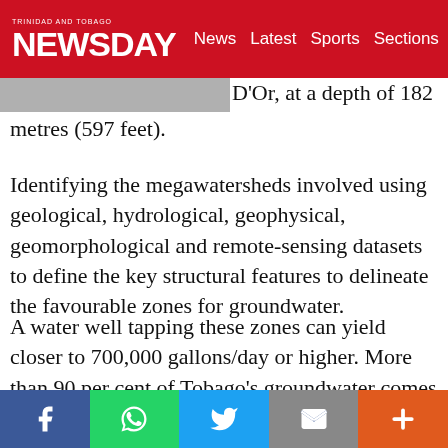TRINIDAD AND TOBAGO NEWSDAY — News  Latest  Sports  Sections
D'Or, at a depth of 182 metres (597 feet).
Identifying the megawatersheds involved using geological, hydrological, geophysical, geomorphological and remote-sensing datasets to define the key structural features to delineate the favourable zones for groundwater.
A water well tapping these zones can yield closer to 700,000 gallons/day or higher. More than 90 per cent of Tobago's groundwater comes from these bedrock aquifer systems, validating the
f  WhatsApp  Twitter  Email  +